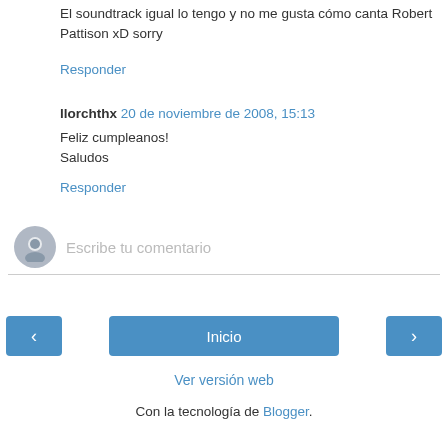El soundtrack igual lo tengo y no me gusta cómo canta Robert Pattison xD sorry
Responder
llorchthx 20 de noviembre de 2008, 15:13
Feliz cumpleanos!
Saludos
Responder
[Figure (other): Comment input box with user avatar placeholder and text field saying 'Escribe tu comentario']
< Inicio >
Ver versión web
Con la tecnología de Blogger.